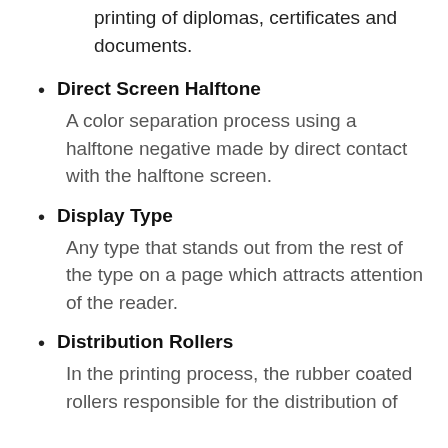printing of diplomas, certificates and documents.
Direct Screen Halftone: A color separation process using a halftone negative made by direct contact with the halftone screen.
Display Type: Any type that stands out from the rest of the type on a page which attracts attention of the reader.
Distribution Rollers: In the printing process, the rubber coated rollers responsible for the distribution of